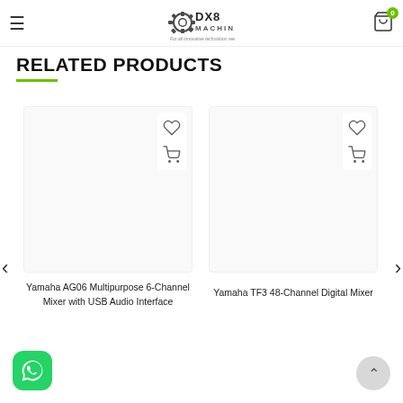DX8 MACHINE - For all innovative technology needs!
RELATED PRODUCTS
[Figure (screenshot): Product card for Yamaha AG06 Multipurpose 6-Channel Mixer with USB Audio Interface, white background, heart and cart icons]
Yamaha AG06 Multipurpose 6-Channel Mixer with USB Audio Interface
[Figure (screenshot): Product card for Yamaha TF3 48-Channel Digital Mixer, white background, heart and cart icons]
Yamaha TF3 48-Channel Digital Mixer